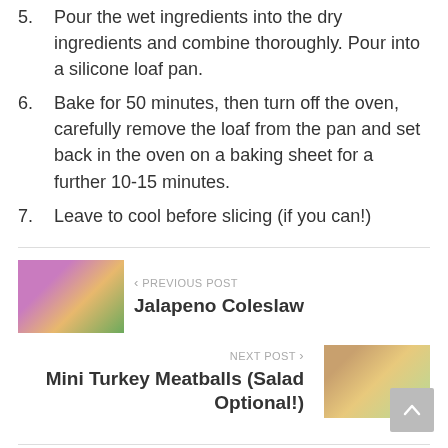Pour the wet ingredients into the dry ingredients and combine thoroughly. Pour into a silicone loaf pan.
Bake for 50 minutes, then turn off the oven, carefully remove the loaf from the pan and set back in the oven on a baking sheet for a further 10-15 minutes.
Leave to cool before slicing (if you can!)
PREVIOUS POST
Jalapeno Coleslaw
[Figure (photo): Photo of jalapeno coleslaw with purple cabbage]
NEXT POST
Mini Turkey Meatballs (Salad Optional!)
[Figure (photo): Photo of mini turkey meatballs in a white bowl]